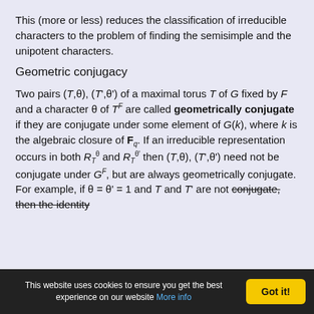This (more or less) reduces the classification of irreducible characters to the problem of finding the semisimple and the unipotent characters.
Geometric conjugacy
Two pairs (T,θ), (T',θ') of a maximal torus T of G fixed by F and a character θ of T^F are called geometrically conjugate if they are conjugate under some element of G(k), where k is the algebraic closure of F_q. If an irreducible representation occurs in both R_T^θ and R_T^θ' then (T,θ), (T',θ') need not be conjugate under G^F, but are always geometrically conjugate. For example, if θ = θ' = 1 and T and T' are not conjugate, then the identity
This website uses cookies to ensure you get the best experience on our website More info